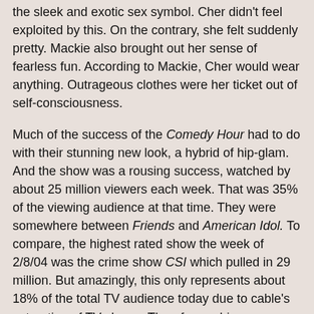the sleek and exotic sex symbol. Cher didn't feel exploited by this. On the contrary, she felt suddenly pretty. Mackie also brought out her sense of fearless fun. According to Mackie, Cher would wear anything. Outrageous clothes were her ticket out of self-consciousness.
Much of the success of the Comedy Hour had to do with their stunning new look, a hybrid of hip-glam. And the show was a rousing success, watched by about 25 million viewers each week. That was 35% of the viewing audience at that time. They were somewhere between Friends and American Idol. To compare, the highest rated show the week of 2/8/04 was the crime show CSI which pulled in 29 million. But amazingly, this only represents about 18% of the total TV audience today due to cable's saturation of TV shows. Therefore, a bigger percentage of TV viewers were watching Sonny & Cher's Comedy Hour every week than are now